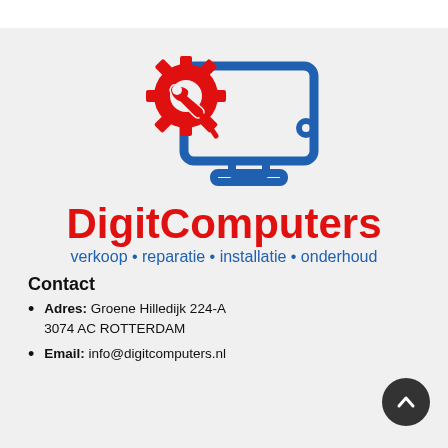[Figure (logo): DigitComputers logo: a red gear/wrench icon overlapping a blue monitor outline with a power button dot]
DigitComputers
verkoop • reparatie • installatie • onderhoud
Contact
Adres: Groene Hilledijk 224-A 3074 AC ROTTERDAM
Email: info@digitcomputers.nl